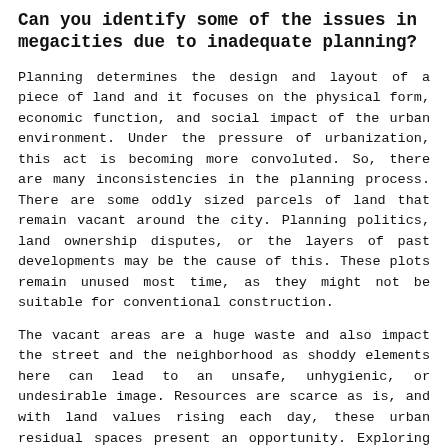Can you identify some of the issues in megacities due to inadequate planning?
Planning determines the design and layout of a piece of land and it focuses on the physical form, economic function, and social impact of the urban environment. Under the pressure of urbanization, this act is becoming more convoluted. So, there are many inconsistencies in the planning process. There are some oddly sized parcels of land that remain vacant around the city. Planning politics, land ownership disputes, or the layers of past developments may be the cause of this. These plots remain unused most time, as they might not be suitable for conventional construction.
The vacant areas are a huge waste and also impact the street and the neighborhood as shoddy elements here can lead to an unsafe, unhygienic, or undesirable image. Resources are scarce as is, and with land values rising each day, these urban residual spaces present an opportunity. Exploring the potential for experiment and